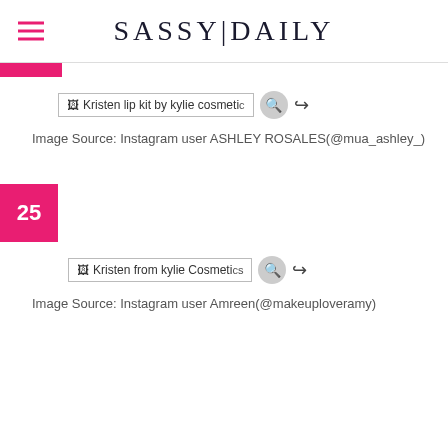SASSY|DAILY
[Figure (screenshot): Broken image placeholder for 'Kristen lip kit by kylie cosmetic' with share and zoom icons]
Image Source: Instagram user ASHLEY ROSALES(@mua_ashley_)
25
[Figure (screenshot): Broken image placeholder for 'Kristen from kylie Cosmetics' with share and zoom icons]
Image Source: Instagram user Amreen(@makeuploveramy)